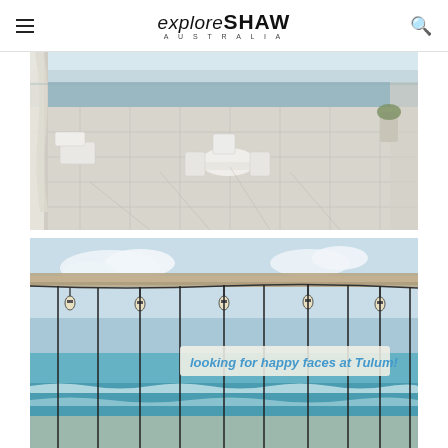exploreSHAW AUSTRALIA
[Figure (photo): White beach terrace restaurant with white chairs, tables, and flowing curtains overlooking the ocean on a sunny day]
[Figure (photo): Beach scene at Tulum with string lights hanging from a wooden beam, vertical ropes/swings, blue sky with clouds, turquoise ocean. A sign reads 'looking for happy faces at Tulum']